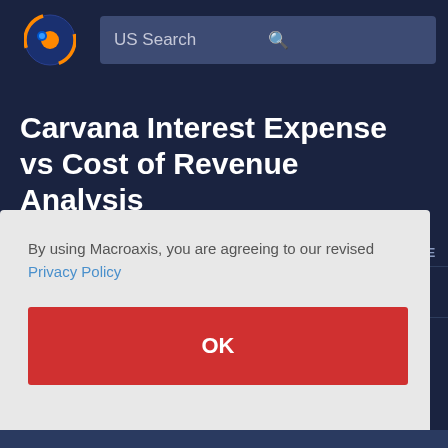US Search
Carvana Interest Expense vs Cost of Revenue Analysis
Stocks . USA . Stock . Carvana Co Cl
By using Macroaxis, you are agreeing to our revised Privacy Policy
OK
ADVICE
ums